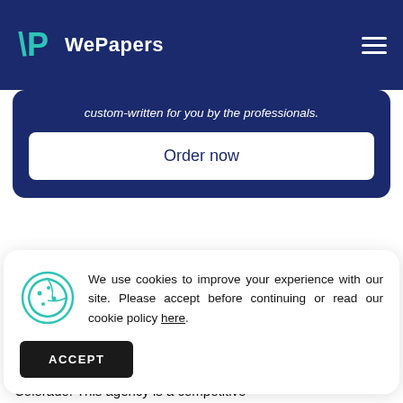WePapers
custom-written for you by the professionals.
Order now
We use cookies to improve your experience with our site. Please accept before continuing or read our cookie policy here.
ACCEPT
The Agency that will Receive the Information
The agency that receives the information related to cancer is the Cancer, Cardiovascular and Pulmonary Disease (CCPD), Colorado. This agency is a competitive